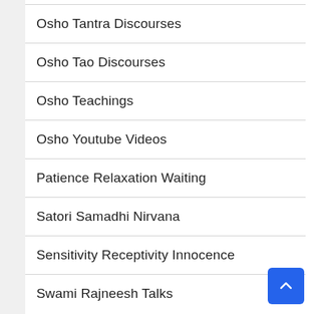Osho Tantra Discourses
Osho Tao Discourses
Osho Teachings
Osho Youtube Videos
Patience Relaxation Waiting
Satori Samadhi Nirvana
Sensitivity Receptivity Innocence
Swami Rajneesh Talks